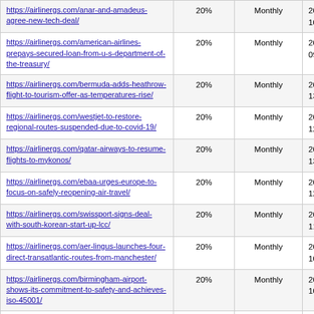| https://airlinergs.com/anar-and-amadeus-agree-new-tech-deal/ | 20% | Monthly | 2021-03-25 10:06 |
| https://airlinergs.com/american-airlines-prepays-secured-loan-from-u-s-department-of-the-treasury/ | 20% | Monthly | 2021-03-25 09:47 |
| https://airlinergs.com/bermuda-adds-heathrow-flight-to-tourism-offer-as-temperatures-rise/ | 20% | Monthly | 2021-03-24 13:57 |
| https://airlinergs.com/westjet-to-restore-regional-routes-suspended-due-to-covid-19/ | 20% | Monthly | 2021-03-24 12:58 |
| https://airlinergs.com/qatar-airways-to-resume-flights-to-mykonos/ | 20% | Monthly | 2021-07-06 13:54 |
| https://airlinergs.com/ebaa-urges-europe-to-focus-on-safely-reopening-air-travel/ | 20% | Monthly | 2021-03-24 12:15 |
| https://airlinergs.com/swissport-signs-deal-with-south-korean-start-up-lcc/ | 20% | Monthly | 2021-03-24 11:47 |
| https://airlinergs.com/aer-lingus-launches-four-direct-transatlantic-routes-from-manchester/ | 20% | Monthly | 2021-03-24 10:54 |
| https://airlinergs.com/birmingham-airport-shows-its-commitment-to-safety-and-achieves-iso-45001/ | 20% | Monthly | 2021-03-24 10:35 |
| https://airlinergs.com/airbaltic-announces-flights-between-riga-and-dubai/ | 20% | Monthly | 2021-03-24 16:43 |
| https://airlinergs.com/iag-agrees-1-8-... | 20% | Monthly | 2021-03-23... |